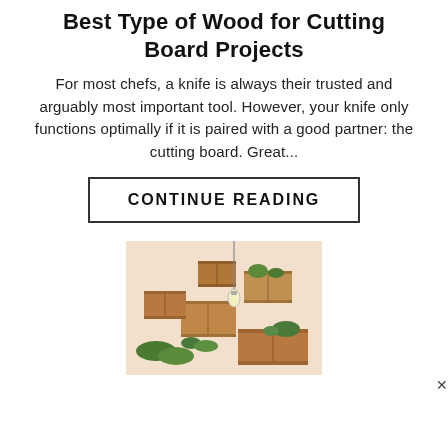Best Type of Wood for Cutting Board Projects
For most chefs, a knife is always their trusted and arguably most important tool. However, your knife only functions optimally if it is paired with a good partner: the cutting board. Great...
CONTINUE READING
[Figure (photo): Wooden wall-mounted crate shelves with potted plants and a hanging light bulb, against a light peach background.]
v